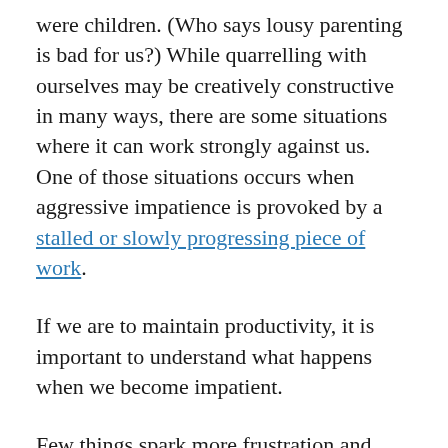were children. (Who says lousy parenting is bad for us?) While quarrelling with ourselves may be creatively constructive in many ways, there are some situations where it can work strongly against us. One of those situations occurs when aggressive impatience is provoked by a stalled or slowly progressing piece of work.
If we are to maintain productivity, it is important to understand what happens when we become impatient.
Few things spark more frustration and inner turmoil in creators than the inability to make decent progress with an emotionally important work-in-progress. The joy of work for even the